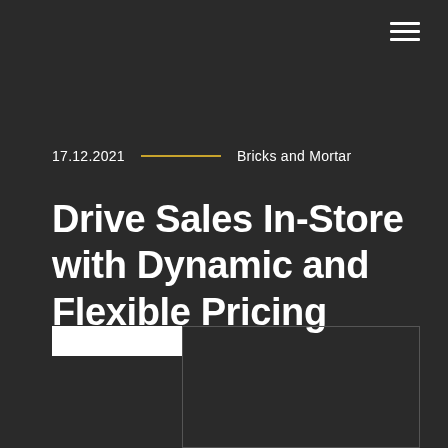≡
17.12.2021 — Bricks and Mortar
Drive Sales In-Store with Dynamic and Flexible Pricing
[Figure (other): Partially visible image with white bar element at top-left and bordered frame area]